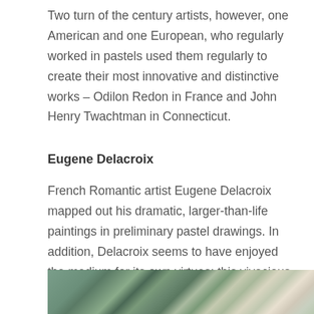Two turn of the century artists, however, one American and one European, who regularly worked in pastels used them regularly to create their most innovative and distinctive works – Odilon Redon in France and John Henry Twachtman in Connecticut.
Eugene Delacroix
French Romantic artist Eugene Delacroix mapped out his dramatic, larger-than-life paintings in preliminary pastel drawings. In addition, Delacroix seems to have enjoyed the medium for its own virtues; this vivacious garden sketch was very likely done en plein air.
[Figure (photo): Partial view of a painting or pastel artwork showing a garden scene with green foliage and earthy tones, partially visible at the bottom of the page.]